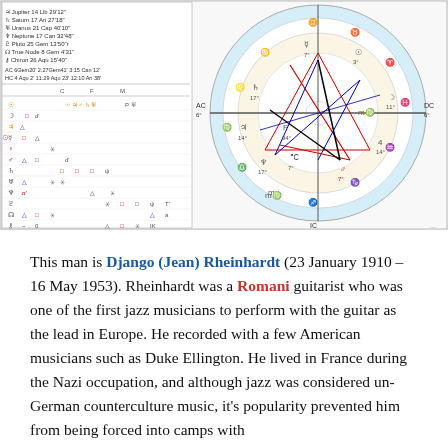[Figure (other): Astrological natal chart for Django Rheinhardt showing planetary positions, aspects, zodiac wheel with house cusps, and an aspect grid table on the left side. Contains planetary symbols, degree notations, colored aspect lines (red, blue, black), and zodiac sign symbols around the wheel.]
This man is Django (Jean) Rheinhardt (23 January 1910 – 16 May 1953). Rheinhardt was a Romani guitarist who was one of the first jazz musicians to perform with the guitar as the lead in Europe. He recorded with a few American musicians such as Duke Ellington. He lived in France during the Nazi occupation, and although jazz was considered un-German counterculture music, it's popularity prevented him from being forced into camps with